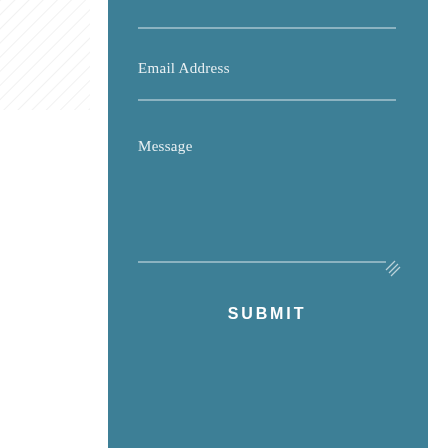[Figure (screenshot): Web contact form UI with teal background, showing Email Address field, Message textarea, and SUBMIT button]
Email Address
Message
SUBMIT